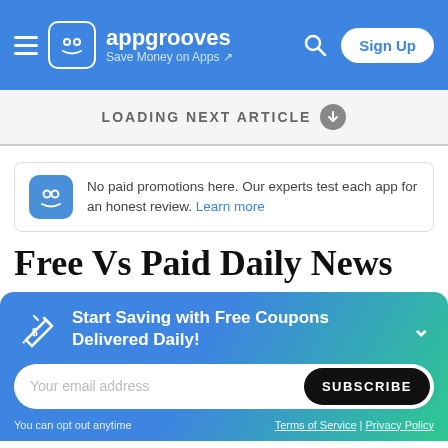appgrooves — Save Money on Apps | Sign Up
LOADING NEXT ARTICLE ⬇
No paid promotions here. Our experts test each app for an honest review. Learn more
Free Vs Paid Daily News
Start Saving with Free Coupons Delivered Daily!
Your email address | SUBSCRIBE
You can opt out anytime | Terms of Service | Privacy Policy